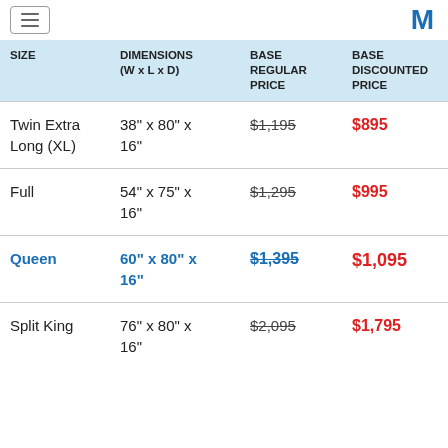Navigation bar with hamburger menu and M logo
| SIZE | DIMENSIONS (W x L x D) | BASE REGULAR PRICE | BASE DISCOUNTED PRICE |
| --- | --- | --- | --- |
| Twin Extra Long (XL) | 38" x 80" x 16" | $1,195 | $895 |
| Full | 54" x 75" x 16" | $1,295 | $995 |
| Queen | 60" x 80" x 16" | $1,395 | $1,095 |
| Split King | 76" x 80" x 16" | $2,095 | $1,795 |